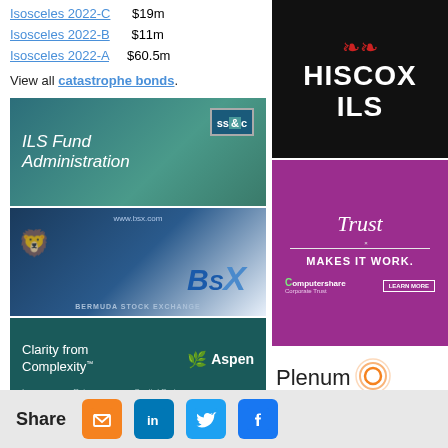Isosceles 2022-C   $19m
Isosceles 2022-B   $11m
Isosceles 2022-A   $60.5m
View all catastrophe bonds.
[Figure (logo): SS&C ILS Fund Administration advertisement - teal gradient background with SS&C logo and text ILS Fund Administration]
[Figure (logo): BSX Bermuda Stock Exchange advertisement - dark blue background with bull graphic and BSX logo]
[Figure (logo): Aspen Insurance - Clarity from Complexity advertisement - dark teal background with Aspen logo, Insurance, Reinsurance, Capital Partners]
[Figure (logo): Hiscox ILS logo on black background with red fleur-de-lis symbol]
[Figure (logo): Computershare Corporate Trust - Trust Makes It Work advertisement - purple background]
[Figure (logo): Plenum logo on white background with orange circular icon]
Share